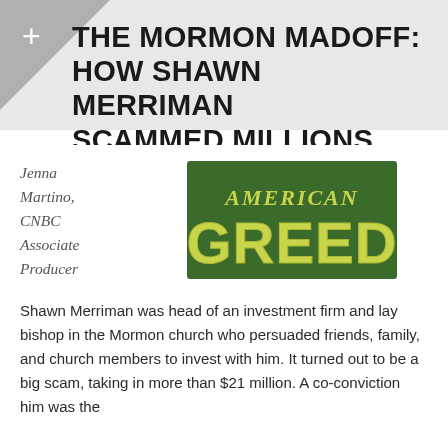THE MORMON MADOFF: HOW SHAWN MERRIMAN SCAMMED MILLIONS
Jenna Martino, CNBC Associate Producer
[Figure (logo): American Greed TV show logo — green background with yellow-green bold text reading 'AMERICAN GREED']
Shawn Merriman was head of an investment firm and lay bishop in the Mormon church who persuaded friends, family, and church members to invest with him. It turned out to be a big scam, taking in more than $21 million. A co-conviction him was the...